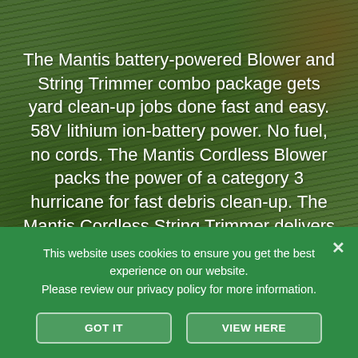[Figure (photo): Background photo of green grass with brown autumn leaves, serving as backdrop for overlaid product text.]
The Mantis battery-powered Blower and String Trimmer combo package gets yard clean-up jobs done fast and easy. 58V lithium ion-battery power. No fuel, no cords. The Mantis Cordless Blower packs the power of a category 3 hurricane for fast debris clean-up. The Mantis Cordless String Trimmer delivers gas-like power with non-stop trimming and edging.
This website uses cookies to ensure you get the best experience on our website.
Please review our privacy policy for more information.
GOT IT
VIEW HERE